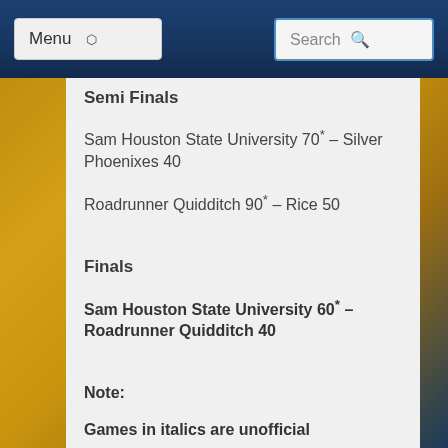Menu | Search
Semi Finals
Sam Houston State University 70* – Silver Phoenixes 40
Roadrunner Quidditch 90* – Rice 50
Finals
Sam Houston State University 60* – Roadrunner Quidditch 40
Note:
Games in italics are unofficial
*: Regulation Snitch Snatch